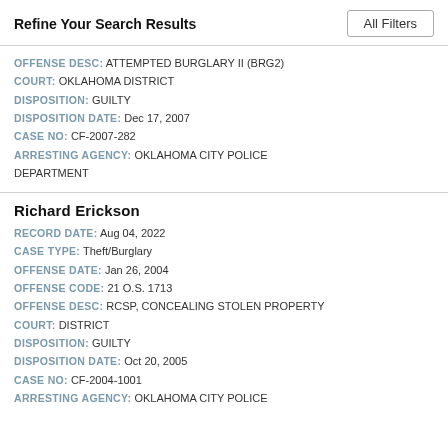Refine Your Search Results
OFFENSE DESC: ATTEMPTED BURGLARY II (BRG2)
COURT: OKLAHOMA DISTRICT
DISPOSITION: GUILTY
DISPOSITION DATE: Dec 17, 2007
CASE NO: CF-2007-282
ARRESTING AGENCY: OKLAHOMA CITY POLICE DEPARTMENT
Richard Erickson
RECORD DATE: Aug 04, 2022
CASE TYPE: Theft/Burglary
OFFENSE DATE: Jan 26, 2004
OFFENSE CODE: 21 O.S. 1713
OFFENSE DESC: RCSP, CONCEALING STOLEN PROPERTY
COURT: DISTRICT
DISPOSITION: GUILTY
DISPOSITION DATE: Oct 20, 2005
CASE NO: CF-2004-1001
ARRESTING AGENCY: OKLAHOMA CITY POLICE